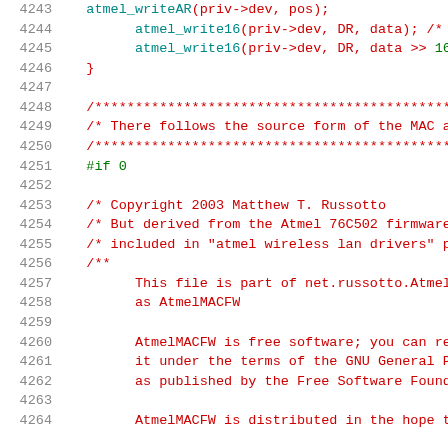Source code listing lines 4243-4264, C source file with line numbers, showing atmel wireless driver code with copyright comment block
[Figure (screenshot): Code editor screenshot showing C source code with syntax highlighting. Line numbers in grey on left, code in red/dark-red for comments and preprocessor, cyan/green for function calls and keywords. Lines 4243-4264 visible.]